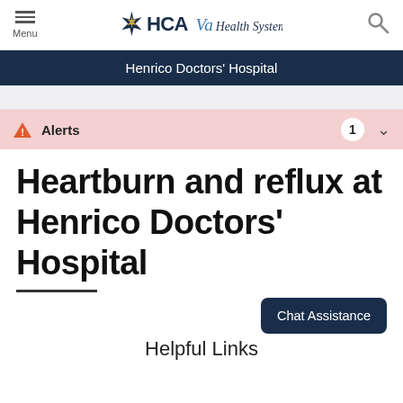HCAVa Health System — Menu / Search navigation
Henrico Doctors' Hospital
Alerts  1
Heartburn and reflux at Henrico Doctors' Hospital
Chat Assistance
Helpful Links